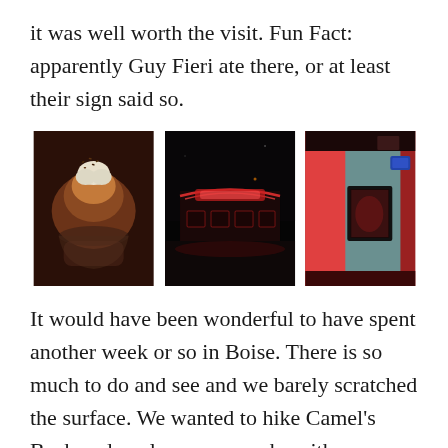it was well worth the visit. Fun Fact: apparently Guy Fieri ate there, or at least their sign said so.
[Figure (photo): Three side-by-side nighttime photos: left shows a dessert (ice cream sundae with whipped cream and toppings) held in hand; center shows a diner/restaurant exterior at night with red neon signage; right shows a building exterior at night with red/teal walls and a framed picture.]
It would have been wonderful to have spent another week or so in Boise. There is so much to do and see and we barely scratched the surface. We wanted to hike Camel's Back and explore some parks with walking/nature trails. Really just be outside more when it isn't quite so cold. We will just have to wait